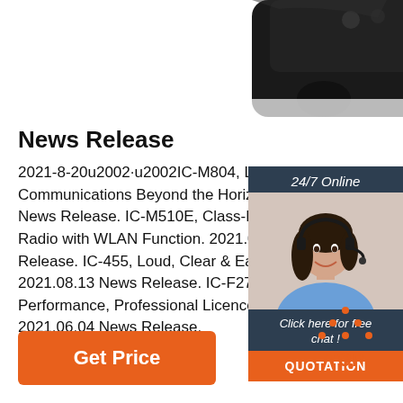[Figure (photo): Partial view of a black electronic device (radio/walkie-talkie) cropped at top of page]
News Release
2021-8-20u2002·u2002IC-M804, Long R... Communications Beyond the Horizon. 20... News Release. IC-M510E, Class-D DSC... Radio with WLAN Function. 2021.08.17... Release. IC-455, Loud, Clear & Easy-to-... 2021.08.13 News Release. IC-F27SR, H... Performance, Professional Licence Free Radio. 2021.06.04 News Release.
[Figure (photo): 24/7 Online chat widget with a woman wearing a headset, smiling. Includes 'Click here for free chat!' text and orange QUOTATION button.]
[Figure (other): Orange TOP icon with dotted triangle above the word TOP]
Get Price